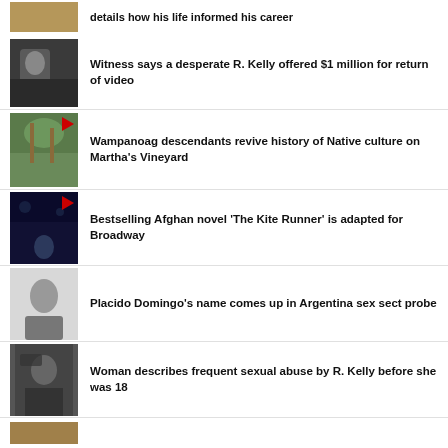[Figure (photo): Partial news thumbnail at top]
details how his life informed his career
[Figure (photo): Man in suit, profile view]
Witness says a desperate R. Kelly offered $1 million for return of video
[Figure (photo): Outdoor scene with people and structures, video indicator]
Wampanoag descendants revive history of Native culture on Martha's Vineyard
[Figure (photo): Dark stage scene, video indicator]
Bestselling Afghan novel 'The Kite Runner' is adapted for Broadway
[Figure (photo): Older man, white hair]
Placido Domingo's name comes up in Argentina sex sect probe
[Figure (photo): Man with sunglasses]
Woman describes frequent sexual abuse by R. Kelly before she was 18
[Figure (photo): Partial thumbnail at bottom]